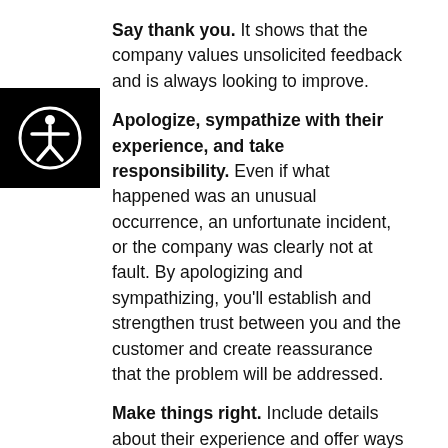Say thank you. It shows that the company values unsolicited feedback and is always looking to improve.
Apologize, sympathize with their experience, and take responsibility. Even if what happened was an unusual occurrence, an unfortunate incident, or the company was clearly not at fault. By apologizing and sympathizing, you'll establish and strengthen trust between you and the customer and create reassurance that the problem will be addressed.
Make things right. Include details about their experience and offer ways to make it right. If there is nothing that can be done, let them